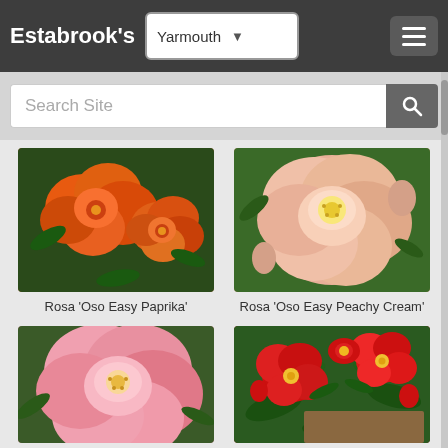Estabrook's — Yarmouth
Search Site
[Figure (photo): Orange rose flowers close-up — Rosa 'Oso Easy Paprika']
Rosa 'Oso Easy Paprika'
[Figure (photo): Peach/cream rose flower close-up — Rosa 'Oso Easy Peachy Cream']
Rosa 'Oso Easy Peachy Cream'
[Figure (photo): Pink rose flower close-up]
[Figure (photo): Cluster of red roses with yellow centers]